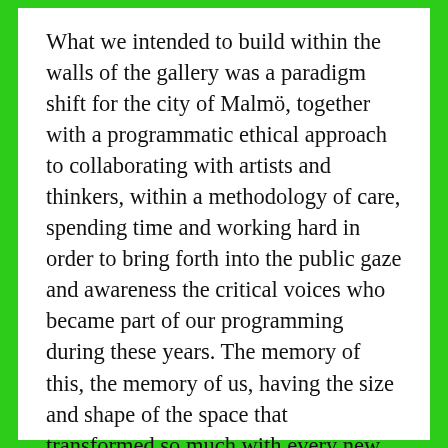What we intended to build within the walls of the gallery was a paradigm shift for the city of Malmö, together with a programmatic ethical approach to collaborating with artists and thinkers, within a methodology of care, spending time and working hard in order to bring forth into the public gaze and awareness the critical voices who became part of our programming during these years. The memory of this, the memory of us, having the size and shape of the space that transformed so much with every new event, may it forever protrude from the walls and the broken imperfections of plaster that have gotten to be so familiar, while our